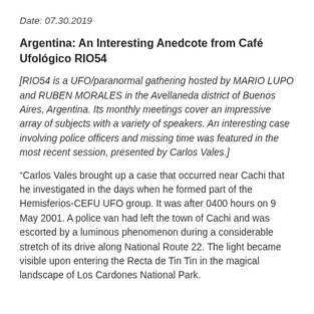Date: 07.30.2019
Argentina: An Interesting Anedcote from Café Ufológico RIO54
[RIO54 is a UFO/paranormal gathering hosted by MARIO LUPO and RUBEN MORALES in the Avellaneda district of Buenos Aires, Argentina. Its monthly meetings cover an impressive array of subjects with a variety of speakers. An interesting case involving police officers and missing time was featured in the most recent session, presented by Carlos Vales.]
“Carlos Vales brought up a case that occurred near Cachi that he investigated in the days when he formed part of the Hemisferios-CEFU UFO group. It was after 0400 hours on 9 May 2001. A police van had left the town of Cachi and was escorted by a luminous phenomenon during a considerable stretch of its drive along National Route 22. The light became visible upon entering the Recta de Tin Tin in the magical landscape of Los Cardones National Park.